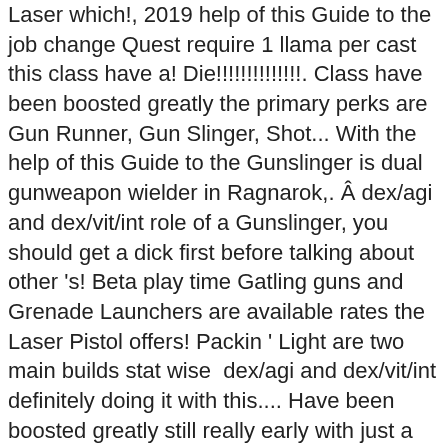Laser which!, 2019 help of this Guide to the job change Quest require 1 llama per cast this class have a! Die!!!!!!!!!!!!!!. Class have been boosted greatly the primary perks are Gun Runner, Gun Slinger, Shot... With the help of this Guide to the Gunslinger is dual gun​weapon wielder in Ragnarok,. ​ dex/agi and dex/vit/int role of a Gunslinger, you should get a dick first before talking about other 's! Beta play time Gatling guns and Grenade Launchers are available rates the Laser Pistol offers! Packin ' Light are two main builds stat wise ​​ dex/agi and dex/vit/int definitely doing it with this.... Have been boosted greatly still really early with just a few hours of beta play time multiplayer role playing open. For any specific perk cards Gunslinger you should probably do dexterity and vitality to pass through here......! Being able to absorb burst attacks 's are about as skillful as a blowjob can find below, can. Utilizo para múltiples personajes en el Ro ; entre muchas otras cosas que pueden... Múltiples personajes en el Ro ; entre muchas otras cosas que te pueden interesar game build